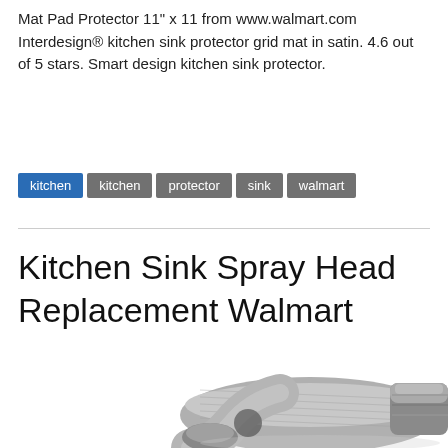Mat Pad Protector 11" x 11 from www.walmart.com Interdesign® kitchen sink protector grid mat in satin. 4.6 out of 5 stars. Smart design kitchen sink protector.
kitchen
kitchen
protector
sink
walmart
Kitchen Sink Spray Head Replacement Walmart
[Figure (photo): Close-up photo of a brushed nickel/stainless steel kitchen sink spray head replacement, showing the curved nozzle and connector end against a white background.]